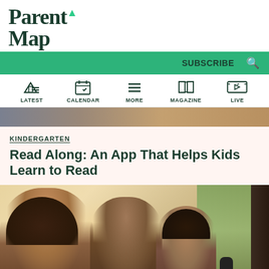ParentMap
SUBSCRIBE
LATEST CALENDAR MORE MAGAZINE LIVE
[Figure (photo): Partial top portion of an article image showing hands]
KINDERGARTEN
Read Along: An App That Helps Kids Learn to Read
[Figure (photo): A smiling Black woman with curly hair, a man, and a young girl holding a remote control, looking upward together, shot in warm natural light near a window with greenery visible outside]